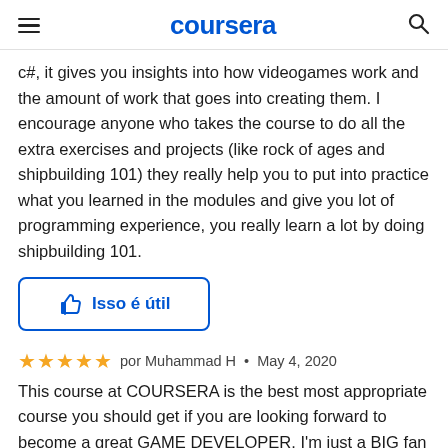coursera
c#, it gives you insights into how videogames work and the amount of work that goes into creating them. I encourage anyone who takes the course to do all the extra exercises and projects (like rock of ages and shipbuilding 101) they really help you to put into practice what you learned in the modules and give you lot of programming experience, you really learn a lot by doing shipbuilding 101.
Isso é útil
★★★★★ por Muhammad H • May 4, 2020
This course at COURSERA is the best most appropriate course you should get if you are looking forward to become a great GAME DEVELOPER. I'm just a BIG fan of DR. T the course instructor he is my Favourite instructor so long the way he has taught this course with examples and a lot of in course assignments, is just OUTSTANDING.